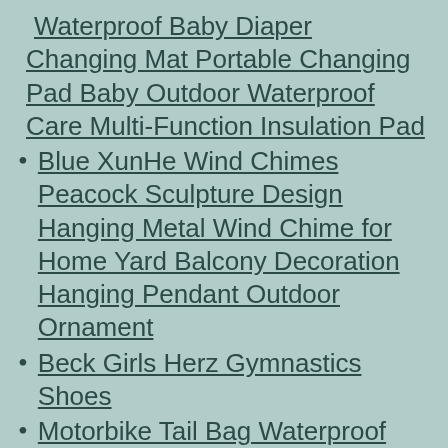Waterproof Baby Diaper Changing Mat Portable Changing Pad Baby Outdoor Waterproof Care Multi-Function Insulation Pad
Blue XunHe Wind Chimes Peacock Sculpture Design Hanging Metal Wind Chime for Home Yard Balcony Decoration Hanging Pendant Outdoor Ornament
Beck Girls Herz Gymnastics Shoes
Motorbike Tail Bag Waterproof Luggage Bag Motorbike Saddle Bags Multifunctional PU Leather Bike Bag